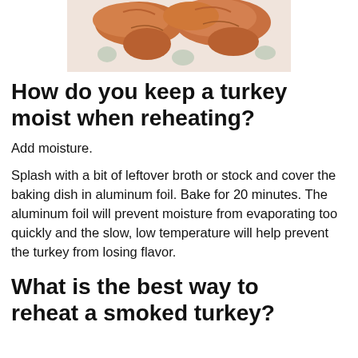[Figure (photo): Photo of cooked turkey legs/drumsticks with browned skin, partially cropped at top of page]
How do you keep a turkey moist when reheating?
Add moisture.
Splash with a bit of leftover broth or stock and cover the baking dish in aluminum foil. Bake for 20 minutes. The aluminum foil will prevent moisture from evaporating too quickly and the slow, low temperature will help prevent the turkey from losing flavor.
What is the best way to reheat a smoked turkey?